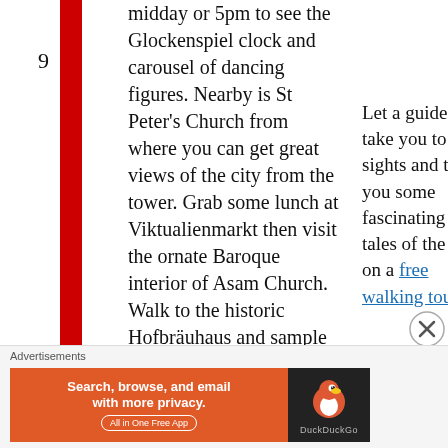midday or 5pm to see the Glockenspiel clock and carousel of dancing figures. Nearby is St Peter's Church from where you can get great views of the city from the tower. Grab some lunch at Viktualienmarkt then visit the ornate Baroque interior of Asam Church. Walk to the historic Hofbräuhaus and sample some local nectar, then
Let a guide take you to the sights and tell you some fascinating tales of the city on a free walking tour.
[Figure (infographic): DuckDuckGo advertisement banner: orange background with text 'Search, browse, and email with more privacy. All in One Free App' and DuckDuckGo logo on dark right panel]